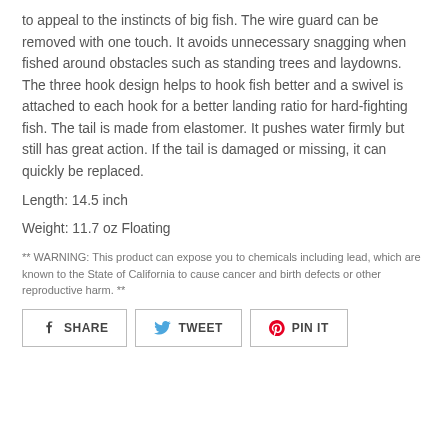to appeal to the instincts of big fish. The wire guard can be removed with one touch. It avoids unnecessary snagging when fished around obstacles such as standing trees and laydowns. The three hook design helps to hook fish better and a swivel is attached to each hook for a better landing ratio for hard-fighting fish. The tail is made from elastomer. It pushes water firmly but still has great action. If the tail is damaged or missing, it can quickly be replaced.
Length: 14.5 inch
Weight: 11.7 oz Floating
** WARNING: This product can expose you to chemicals including lead, which are known to the State of California to cause cancer and birth defects or other reproductive harm. **
[Figure (other): Social sharing buttons: SHARE (Facebook), TWEET (Twitter), PIN IT (Pinterest)]